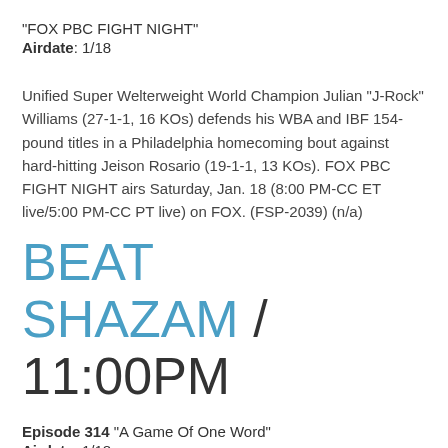“FOX PBC FIGHT NIGHT”
Airdate: 1/18
Unified Super Welterweight World Champion Julian "J-Rock" Williams (27-1-1, 16 KOs) defends his WBA and IBF 154-pound titles in a Philadelphia homecoming bout against hard-hitting Jeison Rosario (19-1-1, 13 KOs). FOX PBC FIGHT NIGHT airs Saturday, Jan. 18 (8:00 PM-CC ET live/5:00 PM-CC PT live) on FOX. (FSP-2039) (n/a)
BEAT SHAZAM / 11:00PM
Episode 314 “A Game Of One Word”
Airdate: 1/18